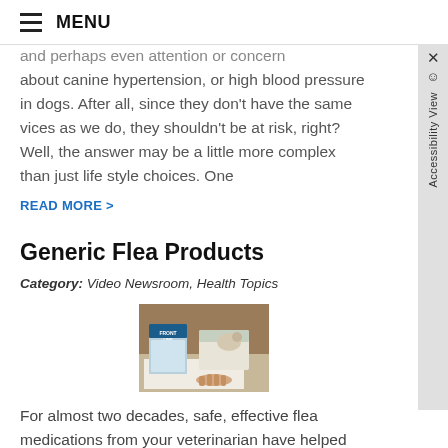MENU
and perhaps even attention or concern about canine hypertension, or high blood pressure in dogs. After all, since they don't have the same vices as we do, they shouldn't be at risk, right? Well, the answer may be a little more complex than just life style choices. One
READ MORE >
Generic Flea Products
Category: Video Newsroom, Health Topics
[Figure (photo): Photo of Frontline flea medication product boxes on a desk surface with a hand visible]
For almost two decades, safe, effective flea medications from your veterinarian have helped